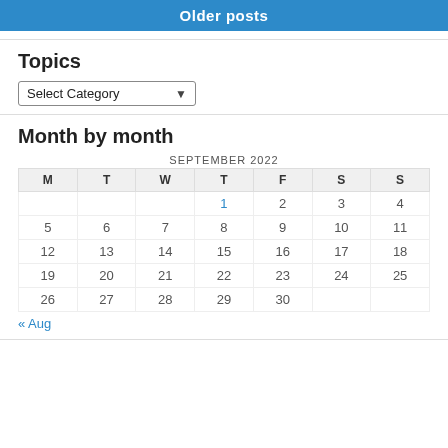Older posts
Topics
Select Category
Month by month
| M | T | W | T | F | S | S |
| --- | --- | --- | --- | --- | --- | --- |
|  |  |  | 1 | 2 | 3 | 4 |
| 5 | 6 | 7 | 8 | 9 | 10 | 11 |
| 12 | 13 | 14 | 15 | 16 | 17 | 18 |
| 19 | 20 | 21 | 22 | 23 | 24 | 25 |
| 26 | 27 | 28 | 29 | 30 |  |  |
« Aug